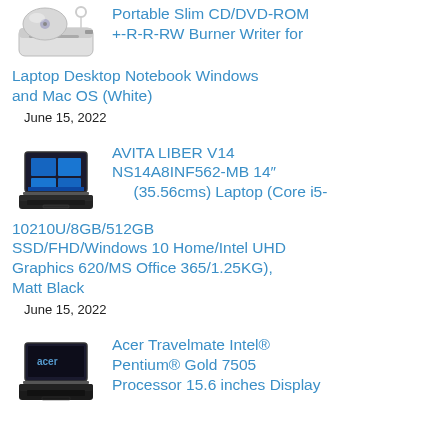[Figure (photo): Portable slim CD/DVD-ROM drive, silver/white color]
Portable Slim CD/DVD-ROM +-R-R-RW Burner Writer for Laptop Desktop Notebook Windows and Mac OS (White)
June 15, 2022
[Figure (photo): AVITA LIBER V14 laptop, dark color, shown open]
AVITA LIBER V14 NS14A8INF562-MB 14″ (35.56cms) Laptop (Core i5-10210U/8GB/512GB SSD/FHD/Windows 10 Home/Intel UHD Graphics 620/MS Office 365/1.25KG), Matt Black
June 15, 2022
[Figure (photo): Acer Travelmate laptop, dark color, Acer logo visible]
Acer Travelmate Intel® Pentium® Gold 7505 Processor 15.6 inches Display